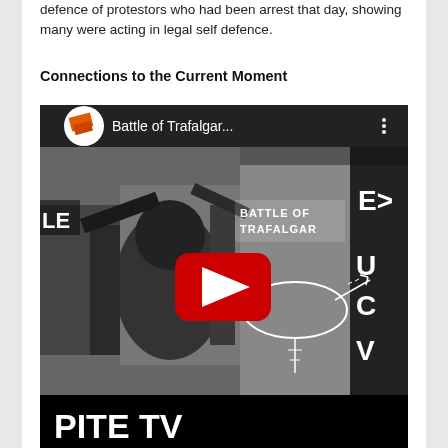defence of protestors who had been arrest that day, showing many were acting in legal self defence.
Connections to the Current Moment
[Figure (screenshot): YouTube video thumbnail for 'Battle of Trafalgar' showing a black and white photo of protesters, with the YouTube play button overlay, and 'PITE TV' text visible at the bottom of the video player.]